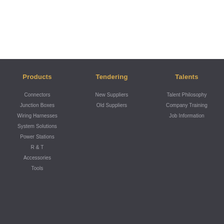Products
Connectors
Junction Boxes
Wiring Harnesses
System Solutions
Power Stations
R & T
Accessories
Tools
Tendering
New Suppliers
Old Suppliers
Talents
Talent Philosophy
Company Training
Job Information